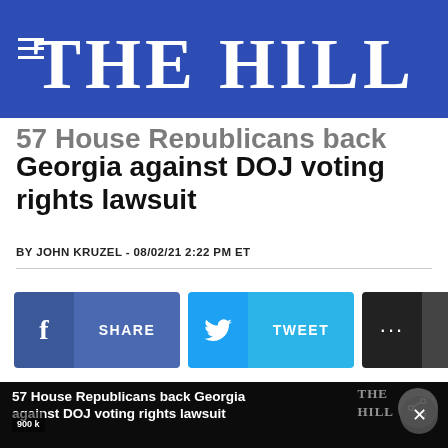THE HILL
57 House Republicans back Georgia against DOJ voting rights lawsuit
BY JOHN KRUZEL - 08/02/21 2:22 PM ET
[Figure (screenshot): Social share buttons: Facebook SHARE, Twitter TWEET, and MORE buttons]
[Figure (screenshot): Video thumbnail showing '57 House Republicans back Georgia against DOJ voting rights lawsuit' with share and close buttons, and a photo of two men below]